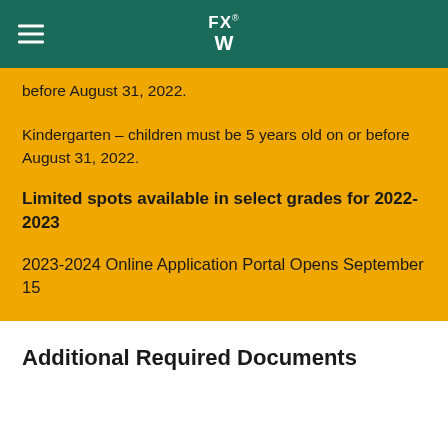FXW
before August 31, 2022.
Kindergarten – children must be 5 years old on or before August 31, 2022.
Limited spots available in select grades for 2022-2023
2023-2024 Online Application Portal Opens September 15
Additional Required Documents